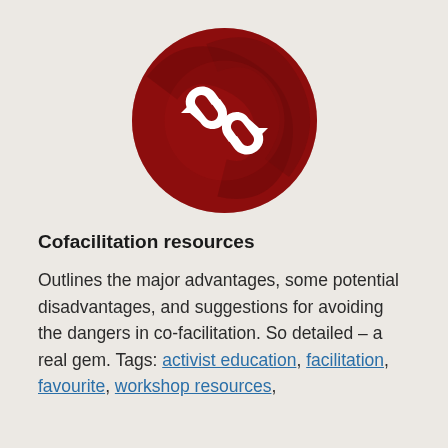[Figure (logo): Dark red circular logo with white chain-link/refresh arrow icon on a dark red background with subtle decorative pattern]
Cofacilitation resources
Outlines the major advantages, some potential disadvantages, and suggestions for avoiding the dangers in co-facilitation. So detailed – a real gem. Tags: activist education, facilitation, favourite, workshop resources,